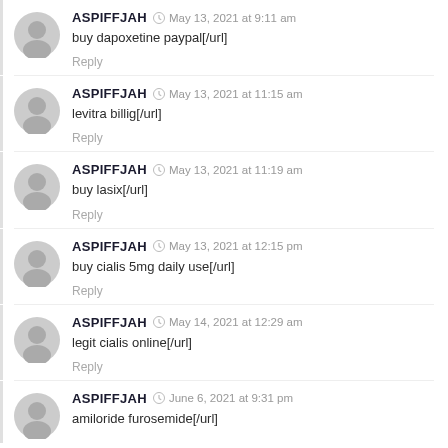ASPIFFJAH · May 13, 2021 at 9:11 am
buy dapoxetine paypal[/url]
Reply
ASPIFFJAH · May 13, 2021 at 11:15 am
levitra billig[/url]
Reply
ASPIFFJAH · May 13, 2021 at 11:19 am
buy lasix[/url]
Reply
ASPIFFJAH · May 13, 2021 at 12:15 pm
buy cialis 5mg daily use[/url]
Reply
ASPIFFJAH · May 14, 2021 at 12:29 am
legit cialis online[/url]
Reply
ASPIFFJAH · June 6, 2021 at 9:31 pm
amiloride furosemide[/url]